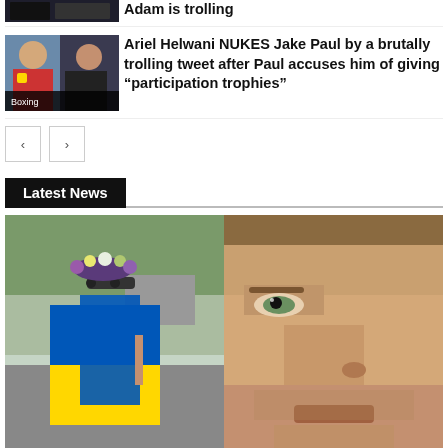[Figure (photo): Partially visible thumbnail of an article at top, cropped]
Adam is trolling
[Figure (photo): Thumbnail showing Jake Paul and Ariel Helwani with Boxing label]
Ariel Helwani NUKES Jake Paul by a brutally trolling tweet after Paul accuses him of giving “participation trophies”
Latest News
[Figure (photo): Split image: left side shows a woman wearing a Ukrainian flag and flower crown; right side shows a close-up of a man's face looking upward]